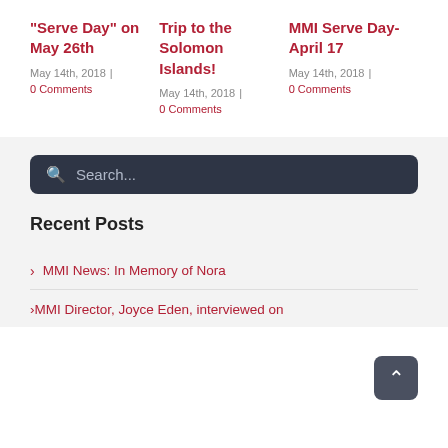“Serve Day” on May 26th
May 14th, 2018  |  0 Comments
Trip to the Solomon Islands!
May 14th, 2018  |  0 Comments
MMI Serve Day-April 17
May 14th, 2018  |  0 Comments
Search...
Recent Posts
MMI News: In Memory of Nora
MMI Director, Joyce Eden, interviewed on